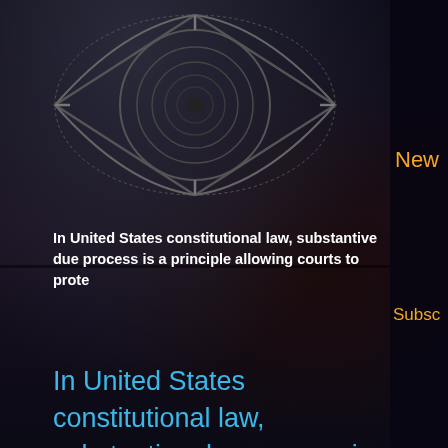[Figure (illustration): Eye/surveillance icon — line art of a stylized eye with concentric circles inside, on dark background]
New
In United States constitutional law, substantive due process is a principle allowing courts to prote
Subsc
In United States constitutional law, substantive due process is a principle allowing courts to protect certain fundamental rights from government interference, even if procedural protections are present or the rights are unenumerated (i.e not specifically mentioned) elsewhere in the US Constitution. Courts have identified the basis for such protection from the due process